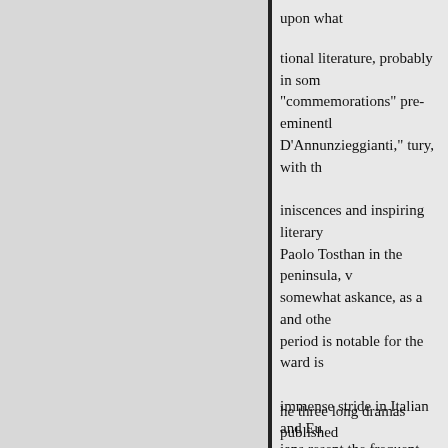upon what
tional literature, probably in som "commemorations" pre-eminentl D'Annunzieggianti," tury, with th iniscences and inspiring literary Paolo Tosthan in the peninsula, v somewhat askance, as a and othe period is notable for the ward is immense stride in Italian and Eu ians resent the frequent assertion twelvemonth comprising the oth 9, Intellectual Italy of to-day, as
· Signor Baccelll 1. Dow Un
3
he three long dramas published